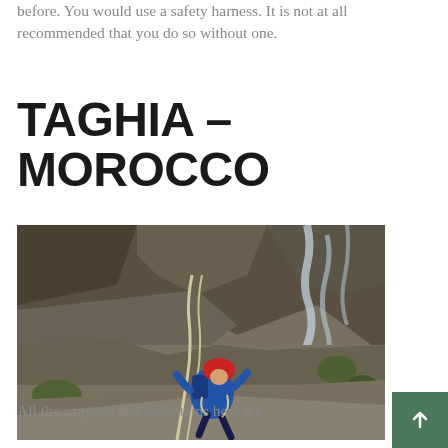before. You would use a safety harness. It is not at all recommended that you do so without one.
TAGHIA – MOROCCO
[Figure (photo): A rock climber wearing a red helmet and blue jacket scaling a rocky cliff face, with a waterfall visible in the background on a mountain landscape in Taghia, Morocco.]
All the canyons and mountains here are